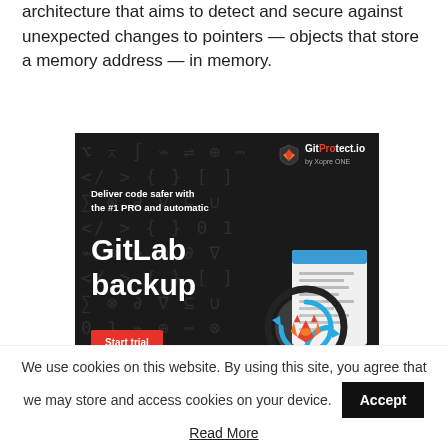architecture that aims to detect and secure against unexpected changes to pointers — objects that store a memory address — in memory.
[Figure (illustration): Advertisement for GitProtect.io GitLab backup service. Dark background with code symbols, logo in top right, tagline 'Deliver code safer with the #1 PRO and automatic', large text 'GitLab backup', a red 'Start trial' button, and an illustration of a magnifying glass over a document with the GitLab fox logo and circular arrows.]
We use cookies on this website. By using this site, you agree that we may store and access cookies on your device.
Read More